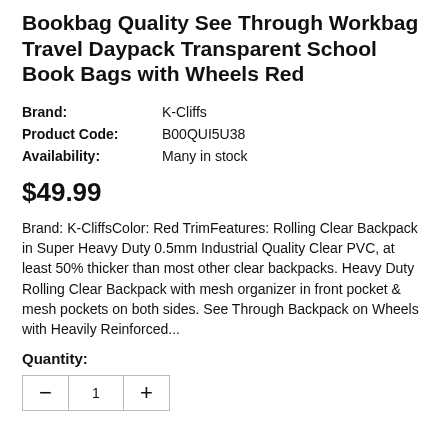Bookbag Quality See Through Workbag Travel Daypack Transparent School Book Bags with Wheels Red
| Brand: | K-Cliffs |
| Product Code: | B00QUI5U38 |
| Availability: | Many in stock |
$49.99
Brand: K-CliffsColor: Red TrimFeatures: Rolling Clear Backpack in Super Heavy Duty 0.5mm Industrial Quality Clear PVC, at least 50% thicker than most other clear backpacks. Heavy Duty Rolling Clear Backpack with mesh organizer in front pocket & mesh pockets on both sides. See Through Backpack on Wheels with Heavily Reinforced...
Quantity: